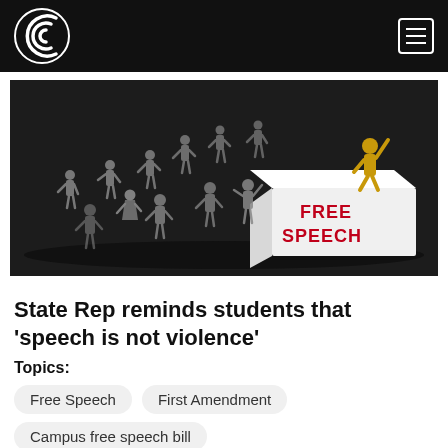Campus Reform
[Figure (illustration): 3D render of grey figurines standing around a white podium/block labeled 'FREE SPEECH' in red letters, with a single gold figurine standing triumphantly on top of the block with fist raised.]
State Rep reminds students that 'speech is not violence'
Topics:
Free Speech
First Amendment
Campus free speech bill
BY ADAM SABES